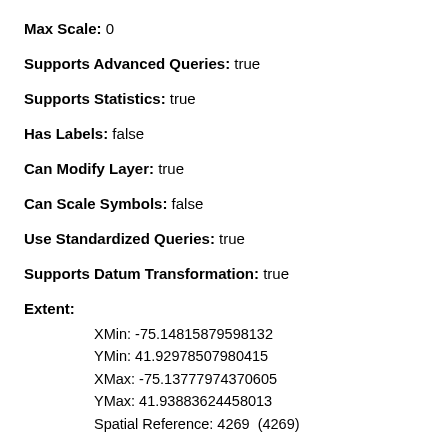Max Scale: 0
Supports Advanced Queries: true
Supports Statistics: true
Has Labels: false
Can Modify Layer: true
Can Scale Symbols: false
Use Standardized Queries: true
Supports Datum Transformation: true
Extent:
XMin: -75.14815879598132
YMin: 41.92978507980415
XMax: -75.13777974370605
YMax: 41.93883624458013
Spatial Reference: 4269  (4269)
Drawing Info: